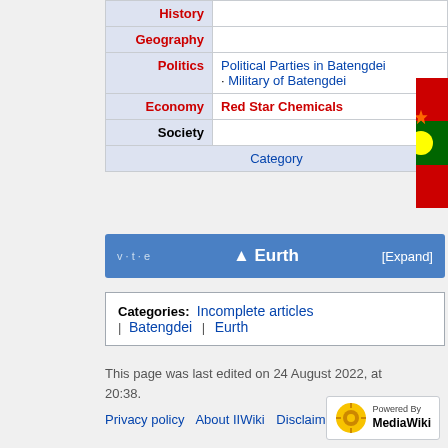| Label | Content |
| --- | --- |
| History |  |
| Geography |  |
| Politics | Political Parties in Batengdei · Military of Batengdei |
| Economy | Red Star Chemicals |
| Society |  |
|  | Category |
v · t · e  Eurth  [Expand]
Categories: Incomplete articles | Batengdei | Eurth
This page was last edited on 24 August 2022, at 20:38.
Privacy policy   About IIWiki   Disclaimers